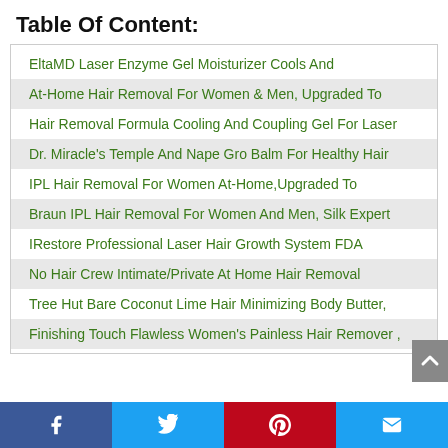Table Of Content:
EltaMD Laser Enzyme Gel Moisturizer Cools And
At-Home Hair Removal For Women & Men, Upgraded To
Hair Removal Formula Cooling And Coupling Gel For Laser
Dr. Miracle's Temple And Nape Gro Balm For Healthy Hair
IPL Hair Removal For Women At-Home,Upgraded To
Braun IPL Hair Removal For Women And Men, Silk Expert
IRestore Professional Laser Hair Growth System FDA
No Hair Crew Intimate/Private At Home Hair Removal
Tree Hut Bare Coconut Lime Hair Minimizing Body Butter,
Finishing Touch Flawless Women's Painless Hair Remover ,